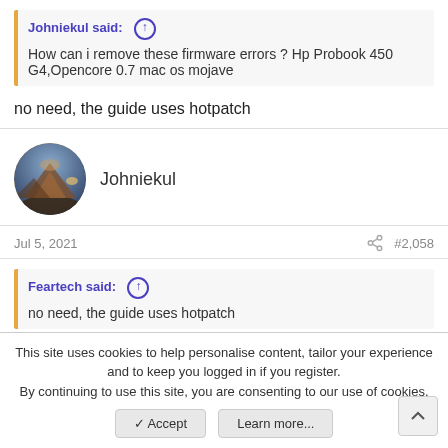Johniekul said: ↑
How can i remove these firmware errors ? Hp Probook 450 G4,Opencore 0.7 mac os mojave
no need, the guide uses hotpatch
Johniekul
Jul 5, 2021   #2,058
Feartech said: ↑
no need, the guide uses hotpatch
tried hotpatch it doesnt work anymore
This site uses cookies to help personalise content, tailor your experience and to keep you logged in if you register. By continuing to use this site, you are consenting to our use of cookies.
✓ Accept   Learn more...